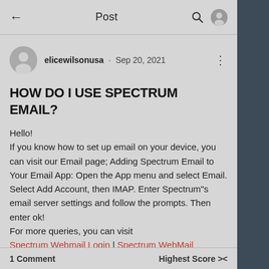Post
elicewilsonusa · Sep 20, 2021
HOW DO I USE SPECTRUM EMAIL?
Hello!
If you know how to set up email on your device, you can visit our Email page; Adding Spectrum Email to Your Email App: Open the App menu and select Email. Select Add Account, then IMAP. Enter Spectrum"s email server settings and follow the prompts. Then enter ok!
For more queries, you can visit
Spectrum Webmail Login | Spectrum WebMail
0   Share
1 Comment   Highest Score